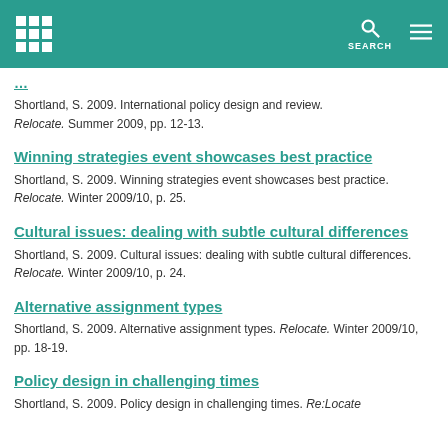SEARCH
Shortland, S. 2009. International policy design and review. Relocate. Summer 2009, pp. 12-13.
Winning strategies event showcases best practice
Shortland, S. 2009. Winning strategies event showcases best practice. Relocate. Winter 2009/10, p. 25.
Cultural issues: dealing with subtle cultural differences
Shortland, S. 2009. Cultural issues: dealing with subtle cultural differences. Relocate. Winter 2009/10, p. 24.
Alternative assignment types
Shortland, S. 2009. Alternative assignment types. Relocate. Winter 2009/10, pp. 18-19.
Policy design in challenging times
Shortland, S. 2009. Policy design in challenging times. Re:Locate